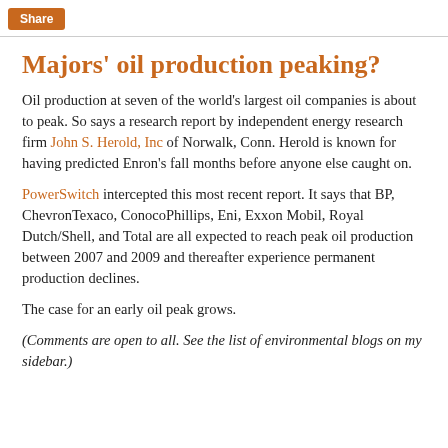Share
Majors' oil production peaking?
Oil production at seven of the world's largest oil companies is about to peak. So says a research report by independent energy research firm John S. Herold, Inc of Norwalk, Conn. Herold is known for having predicted Enron's fall months before anyone else caught on.
PowerSwitch intercepted this most recent report. It says that BP, ChevronTexaco, ConocoPhillips, Eni, Exxon Mobil, Royal Dutch/Shell, and Total are all expected to reach peak oil production between 2007 and 2009 and thereafter experience permanent production declines.
The case for an early oil peak grows.
(Comments are open to all. See the list of environmental blogs on my sidebar.)